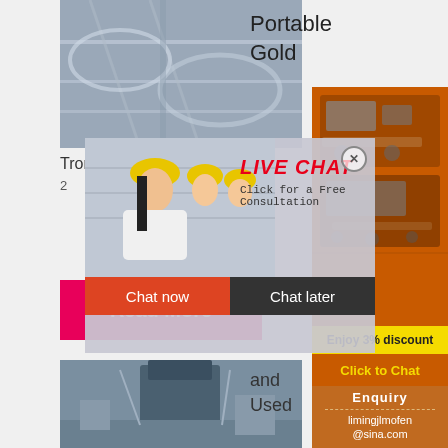[Figure (photo): Industrial equipment or architectural structure, close-up of metal beams and machinery]
Portable Gold
Trom
2
[Figure (photo): Live chat popup overlay showing workers in yellow hard hats, with LIVE CHAT header, 'Click for a Free Consultation', Chat now and Chat later buttons]
Read More
[Figure (photo): Industrial facility or mining equipment, lower portion]
[Figure (photo): Right sidebar: orange background with images of industrial crushing/mining machines]
Enjoy 3% discount
Click to Chat
Enquiry
limingjlmofen@sina.com
and
Used